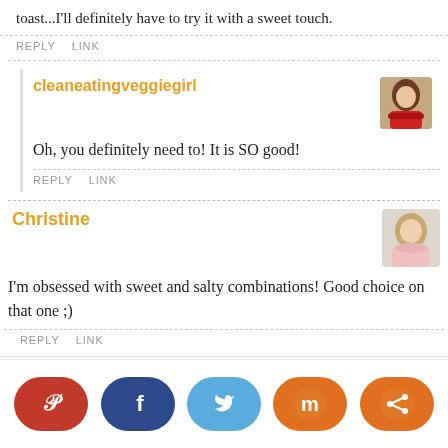toast...I'll definitely have to try it with a sweet touch.
REPLY   LINK
cleaneatingveggiegirl
Oh, you definitely need to! It is SO good!
REPLY   LINK
Christine
I'm obsessed with sweet and salty combinations! Good choice on that one ;)
REPLY   LINK
[Figure (infographic): Social sharing buttons: Pinterest (red), Facebook (dark blue), Twitter (light blue), Mix (orange), Share (orange)]